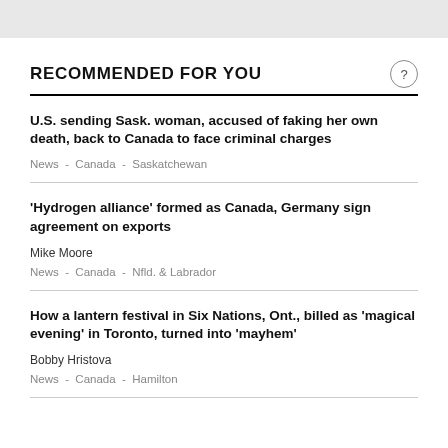RECOMMENDED FOR YOU
U.S. sending Sask. woman, accused of faking her own death, back to Canada to face criminal charges
News - Canada - Saskatchewan
'Hydrogen alliance' formed as Canada, Germany sign agreement on exports
Mike Moore
News - Canada - Nfld. & Labrador
How a lantern festival in Six Nations, Ont., billed as 'magical evening' in Toronto, turned into 'mayhem'
Bobby Hristova
News - Canada - Hamilton